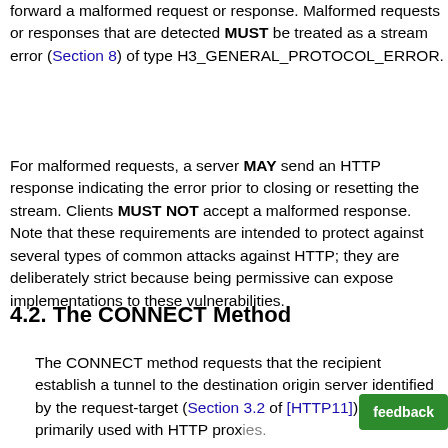forward a malformed request or response. Malformed requests or responses that are detected MUST be treated as a stream error (Section 8) of type H3_GENERAL_PROTOCOL_ERROR.
For malformed requests, a server MAY send an HTTP response indicating the error prior to closing or resetting the stream. Clients MUST NOT accept a malformed response. Note that these requirements are intended to protect against several types of common attacks against HTTP; they are deliberately strict because being permissive can expose implementations to these vulnerabilities.
4.2. The CONNECT Method
The CONNECT method requests that the recipient establish a tunnel to the destination origin server identified by the request-target (Section 3.2 of [HTTP11]). It is primarily used with HTTP proxies.